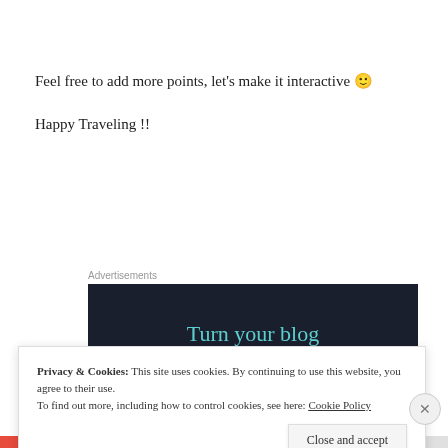Feel free to add more points, let’s make it interactive 🙂
Happy Traveling !!
[Figure (other): Advertisement banner with dark background and teal text reading 'Turn your blog']
Privacy & Cookies: This site uses cookies. By continuing to use this website, you agree to their use.
To find out more, including how to control cookies, see here: Cookie Policy